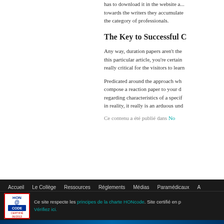has to download it in the website and towards the writers they accumulate the category of professionals.
The Key to Successful C
Any way, duration papers aren't the this particular article, you're certain really critical for the visitors to learn
Predicated around the approach wh compose a reaction paper to your d regarding characteristics of a specif in reality, it really is an arduous und
Ce contenu a été publié dans No
Accueil   Le Collège   Ressources   Réglements   Médias   Paramédicaux   A
Ce site respecte les principes de la charte HONcode. Site certifié en p Vérifiez ici.